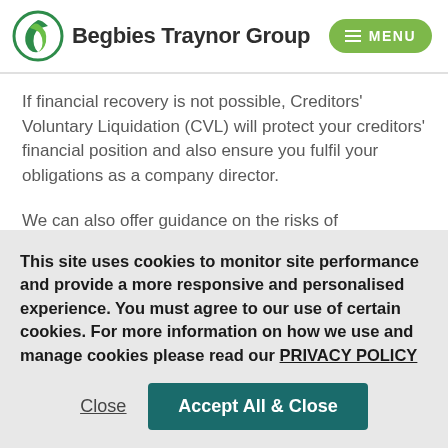Begbies Traynor Group
If financial recovery is not possible, Creditors' Voluntary Liquidation (CVL) will protect your creditors' financial position and also ensure you fulfil your obligations as a company director.
We can also offer guidance on the risks of
This site uses cookies to monitor site performance and provide a more responsive and personalised experience. You must agree to our use of certain cookies. For more information on how we use and manage cookies please read our PRIVACY POLICY
Close
Accept All & Close